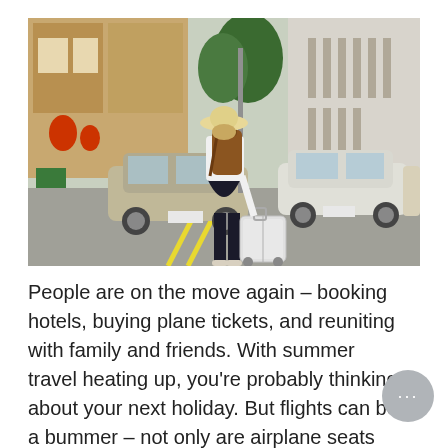[Figure (photo): A woman seen from behind, wearing a white shirt, black skirt, straw hat, and brown leather backpack, pulling a white rolling suitcase across a street. Cars are parked along the road. Asian-style shopfronts and trees are visible in the background.]
People are on the move again – booking hotels, buying plane tickets, and reuniting with family and friends. With summer travel heating up, you're probably thinking about your next holiday. But flights can be a bummer – not only are airplane seats